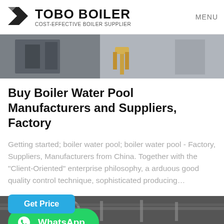TOBO BOILER — COST-EFFECTIVE BOILER SUPPLIER | MENU
[Figure (photo): Industrial boiler equipment photo showing grey machinery and a yellow pipe/hydrant fitting]
Buy Boiler Water Pool Manufacturers and Suppliers, Factory
Getting started; boiler water pool; boiler water pool - Factory, Suppliers, Manufacturers from China. Together with the "Client-Oriented" enterprise philosophy, a arduous good quality control technique, sophisticated producing...
[Figure (screenshot): Get Price button (blue) and WhatsApp button (green with WhatsApp icon)]
[Figure (photo): Industrial pipes/ductwork photo at bottom of page]